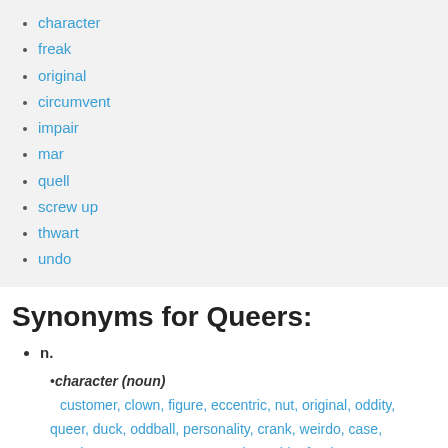character
freak
original
circumvent
impair
mar
quell
screw up
thwart
undo
Synonyms for Queers:
n.
•character (noun)
customer, clown, figure, eccentric, nut, original, oddity, queer, duck, oddball, personality, crank, weirdo, case, spook, WACK, personage, card, zombie, freak.
•freak (noun)
geek, miscreation, malformation, curiosity, sport, mutant,